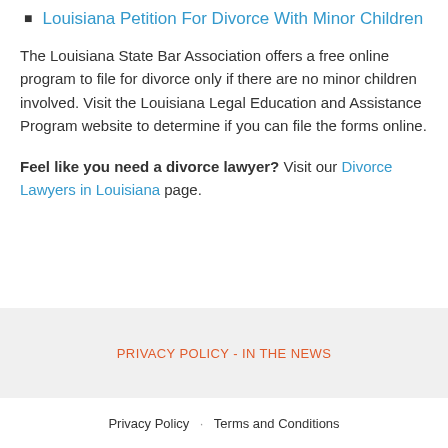Louisiana Petition For Divorce With Minor Children
The Louisiana State Bar Association offers a free online program to file for divorce only if there are no minor children involved. Visit the Louisiana Legal Education and Assistance Program website to determine if you can file the forms online.
Feel like you need a divorce lawyer? Visit our Divorce Lawyers in Louisiana page.
PRIVACY POLICY - IN THE NEWS
Privacy Policy · Terms and Conditions